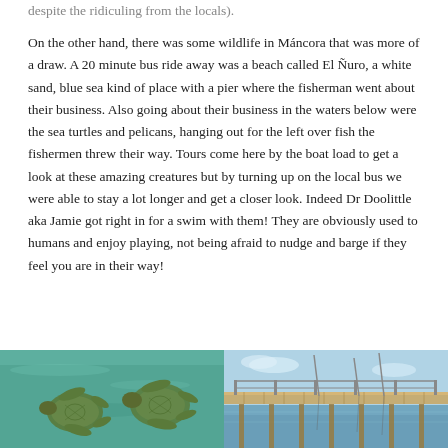despite the ridiculing from the locals).
On the other hand, there was some wildlife in Máncora that was more of a draw. A 20 minute bus ride away was a beach called El Ñuro, a white sand, blue sea kind of place with a pier where the fisherman went about their business. Also going about their business in the waters below were the sea turtles and pelicans, hanging out for the left over fish the fishermen threw their way. Tours come here by the boat load to get a look at these amazing creatures but by turning up on the local bus we were able to stay a lot longer and get a closer look. Indeed Dr Doolittle aka Jamie got right in for a swim with them! They are obviously used to humans and enjoy playing, not being afraid to nudge and barge if they feel you are in their way!
[Figure (photo): Underwater photo showing two sea turtles swimming in turquoise/green water]
[Figure (photo): Photo of a wooden pier/dock extending over blue water with fishing rods and structures visible]